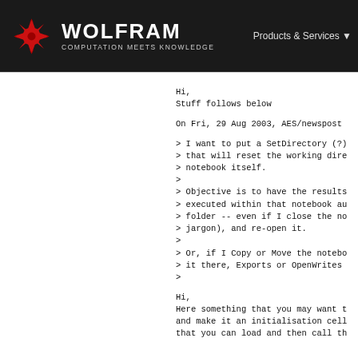WOLFRAM COMPUTATION MEETS KNOWLEDGE  Products & Services
Hi,
Stuff follows below

On Fri, 29 Aug 2003, AES/newspost

> I want to put a SetDirectory (?)
> that will reset the working dire
> notebook itself.
>
> Objective is to have the results
> executed within that notebook au
> folder -- even if I close the no
> jargon), and re-open it.
>
> Or, if I Copy or Move the notebo
> it there, Exports or OpenWrites
>

Hi,
Here something that you may want t
and make it an initialisation cell
that you can load and then call th